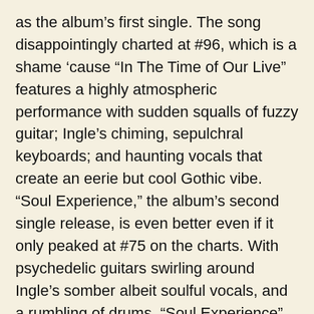as the album's first single. The song disappointingly charted at #96, which is a shame 'cause “In The Time of Our Live” features a highly atmospheric performance with sudden squalls of fuzzy guitar; Ingle’s chiming, sepulchral keyboards; and haunting vocals that create an eerie but cool Gothic vibe. “Soul Experience,” the album’s second single release, is even better even if it only peaked at #75 on the charts. With psychedelic guitars swirling around Ingle’s somber albeit soulful vocals, and a rumbling of drums, “Soul Experience” was loftier and more musical uplifting than anything the band done before.
By contrast, “Lonely Boy” is a powerful torch song displaying an undeniable R&B influence in Ingle’s torrid vocals and smooth-as-silk, gospel-tinged keys. The song is a striking departure from the band’s normal psych-rock direction, its minimalist but loving instrumentation providing a near-perfect complement to Ingle’s voice. The equally subdued “In The Crowds” is cut from a similar cloth, the band’s complex instrumental backing providing a suitable canvas for Ingle to paint upon, but weak vocals and the song’s shockingly truncated two-minute running time don’t allow for